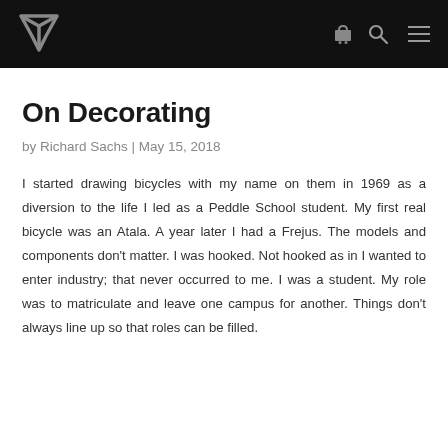Navigation bar with logo and icons
On Decorating
by Richard Sachs | May 15, 2018
I started drawing bicycles with my name on them in 1969 as a diversion to the life I led as a Peddle School student. My first real bicycle was an Atala. A year later I had a Frejus. The models and components don’t matter. I was hooked. Not hooked as in I wanted to enter industry; that never occurred to me. I was a student. My role was to matriculate and leave one campus for another. Things don’t always line up so that roles can be filled.